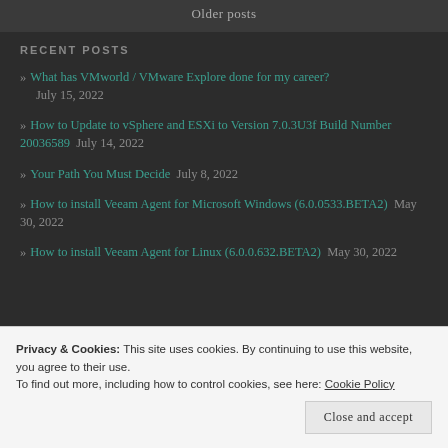Older posts
RECENT POSTS
» What has VMworld / VMware Explore done for my career?  July 15, 2022
» How to Update to vSphere and ESXi to Version 7.0.3U3f Build Number 20036589  July 14, 2022
» Your Path You Must Decide  July 8, 2022
» How to install Veeam Agent for Microsoft Windows (6.0.0533.BETA2)  May 30, 2022
» How to install Veeam Agent for Linux (6.0.0.632.BETA2)  May 30, 2022
Privacy & Cookies: This site uses cookies. By continuing to use this website, you agree to their use. To find out more, including how to control cookies, see here: Cookie Policy